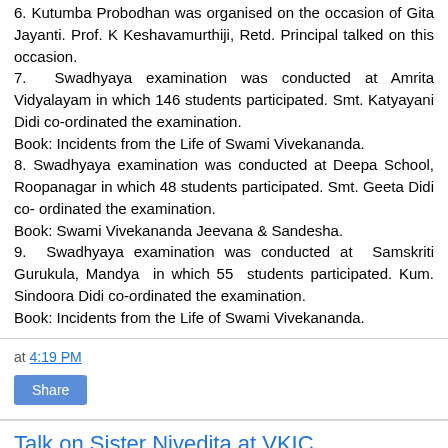6. Kutumba Probodhan was organised on the occasion of Gita Jayanti. Prof. K Keshavamurthiji, Retd. Principal talked on this occasion.
7. Swadhyaya examination was conducted at Amrita Vidyalayam in which 146 students participated. Smt. Katyayani Didi co-ordinated the examination.
Book: Incidents from the Life of Swami Vivekananda.
8. Swadhyaya examination was conducted at Deepa School, Roopanagar in which 48 students participated. Smt. Geeta Didi co- ordinated the examination.
Book: Swami Vivekananda Jeevana & Sandesha.
9. Swadhyaya examination was conducted at Samskriti Gurukula, Mandya in which 55 students participated. Kum. Sindoora Didi co-ordinated the examination.
Book: Incidents from the Life of Swami Vivekananda.
at 4:19 PM
Share
Talk on Sister Nivedita at VKIC